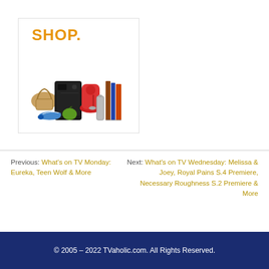[Figure (illustration): Shop advertisement image with orange SHOP. text and product images including a gaming console, red mixer, handbag, shoes, books, apple, and steel containers on white background with light border]
Previous: What's on TV Monday: Eureka, Teen Wolf & More
Next: What's on TV Wednesday: Melissa & Joey, Royal Pains S.4 Premiere, Necessary Roughness S.2 Premiere & More
© 2005 – 2022 TVaholic.com. All Rights Reserved.